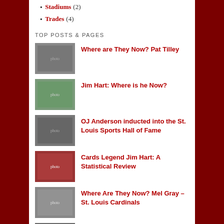Stadiums (2)
Trades (4)
TOP POSTS & PAGES
Where are They Now? Pat Tilley
Jim Hart: Where is he Now?
OJ Anderson inducted into the St. Louis Sports Hall of Fame
Cards Legend Jim Hart: A Statistical Review
Where Are They Now? Mel Gray – St. Louis Cardinals
Why Terry Metcalf Left the Cardinals for the CFL
1960: Why the Cardinals left Chicago